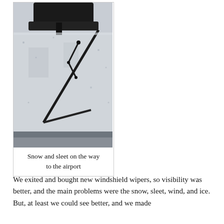[Figure (photo): View from inside a car through the windshield showing a windshield wiper on a snowy, sleety, icy windshield. Rear-view mirror visible at top. Grey wintry scene outside.]
Snow and sleet on the way to the airport
We exited and bought new windshield wipers, so visibility was better, and the main problems were the snow, sleet, wind, and ice. But, at least we could see better, and we made